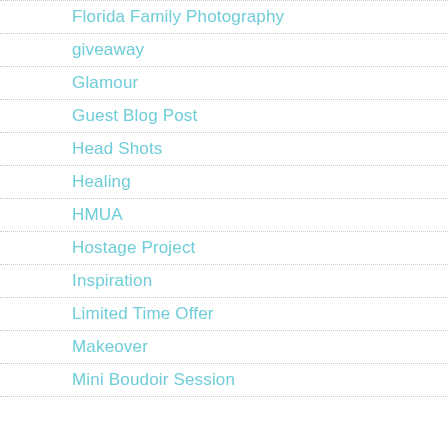Florida Family Photography
giveaway
Glamour
Guest Blog Post
Head Shots
Healing
HMUA
Hostage Project
Inspiration
Limited Time Offer
Makeover
Mini Boudoir Session